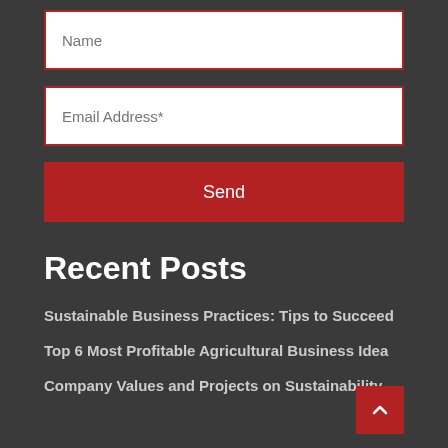Name
Email Address*
Send
Recent Posts
Sustainable Business Practices: Tips to Succeed
Top 6 Most Profitable Agricultural Business Idea
Company Values and Projects on Sustainability